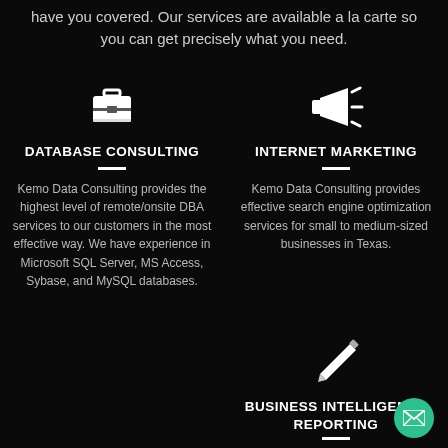have you covered. Our services are available a la carte so you can get precisely what you need.
[Figure (illustration): White briefcase/portfolio icon on black background]
DATABASE CONSULTING
Kemo Data Consulting provides the highest level of remote/onsite DBA services to our customers in the most effective way. We have experience in Microsoft SQL Server, MS Access, Sybase, and MySQL databases.
[Figure (illustration): White megaphone/bullhorn icon on black background]
INTERNET MARKETING
Kemo Data Consulting provides effective search engine optimization services for small to medium-sized businesses in Texas.
[Figure (illustration): White pencil/edit icon on black background]
BUSINESS INTELLIGENCE REPORTING